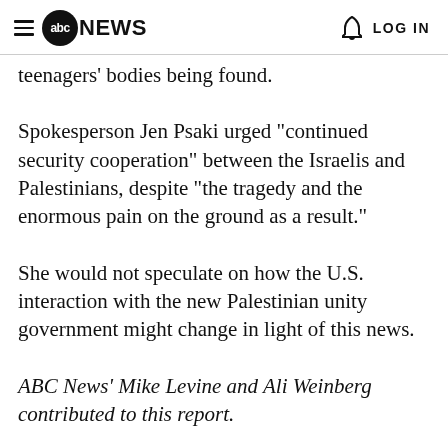abc NEWS  LOG IN
teenagers' bodies being found.
Spokesperson Jen Psaki urged "continued security cooperation" between the Israelis and Palestinians, despite "the tragedy and the enormous pain on the ground as a result."
She would not speculate on how the U.S. interaction with the new Palestinian unity government might change in light of this news.
ABC News' Mike Levine and Ali Weinberg contributed to this report.